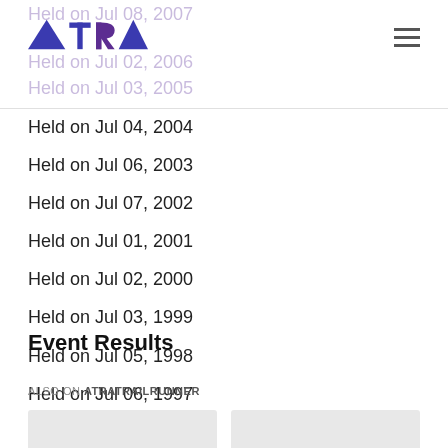ATRA – American Trail Running Association
Held on Jul 08, 2007
Held on Jul 02, 2006
Held on Jul 03, 2005
Held on Jul 04, 2004
Held on Jul 06, 2003
Held on Jul 07, 2002
Held on Jul 01, 2001
Held on Jul 02, 2000
Held on Jul 03, 1999
Held on Jul 05, 1998
Held on Jul 06, 1997
Event Results
ALSO ON ATRATRAILRUNNER